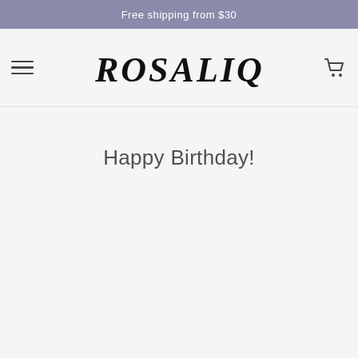Free shipping from $30
[Figure (logo): Rosalique brand logo in bold black serif italic uppercase letters]
Happy Birthday!